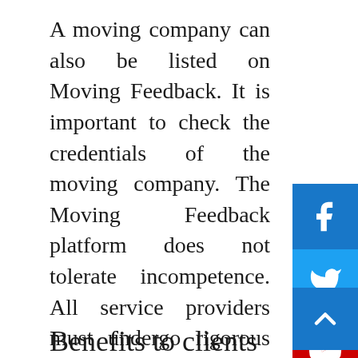A moving company can also be listed on Moving Feedback. It is important to check the credentials of the moving company. The Moving Feedback platform does not tolerate incompetence. All service providers must undergo rigorous scrutiny before they can join the network. Moving experts assess each aspect of the moving company to ensure that it is up to the mark. A moving feed-back platform will feature only the best moving companies. It is possible to choose from a large number of moving companies, but it is best to stick with the top-rated ones.
Benefits to clients